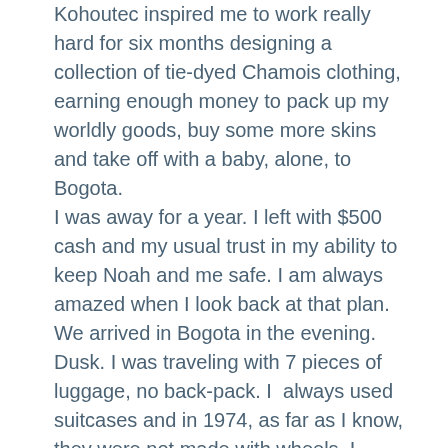Kohoutec inspired me to work really hard for six months designing a collection of tie-dyed Chamois clothing, earning enough money to pack up my worldly goods, buy some more skins and take off with a baby, alone, to Bogota.
I was away for a year. I left with $500 cash and my usual trust in my ability to keep Noah and me safe. I am always amazed when I look back at that plan.
We arrived in Bogota in the evening. Dusk. I was traveling with 7 pieces of luggage, no back-pack. I  always used suitcases and in 1974, as far as I know, they were not made with wheels. I hailed a taxi. As we traveled into town it was obvious that it was a night of celebration everywhere, something to do with a big ball game, complete with fireworks exploding in the heavens.
The taxi driver told me there was little or no accommodation to be had and that he could take us to stay with his family. Here was an apartment with large